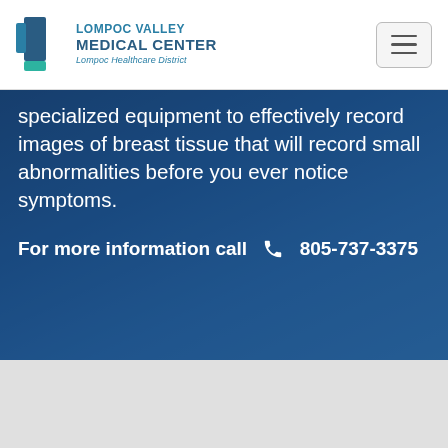[Figure (logo): Lompoc Valley Medical Center logo with Lompoc Healthcare District text]
specialized equipment to effectively record images of breast tissue that will record small abnormalities before you ever notice symptoms.
For more information call 805-737-3375